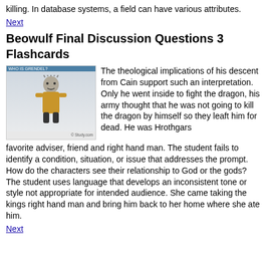killing. In database systems, a field can have various attributes.
Next
Beowulf Final Discussion Questions 3 Flashcards
[Figure (screenshot): Screenshot thumbnail from Study.com showing a cartoon character labeled 'WHO IS GRENDEL?' — a simple illustrated figure with a grey head and brown body on a light blue/grey background, with the Study.com watermark in the lower right.]
The theological implications of his descent from Cain support such an interpretation. Only he went inside to fight the dragon, his army thought that he was not going to kill the dragon by himself so they leaft him for dead. He was Hrothgars favorite adviser, friend and right hand man. The student fails to identify a condition, situation, or issue that addresses the prompt. How do the characters see their relationship to God or the gods? The student uses language that develops an inconsistent tone or style not appropriate for intended audience. She came taking the kings right hand man and bring him back to her home where she ate him.
Next